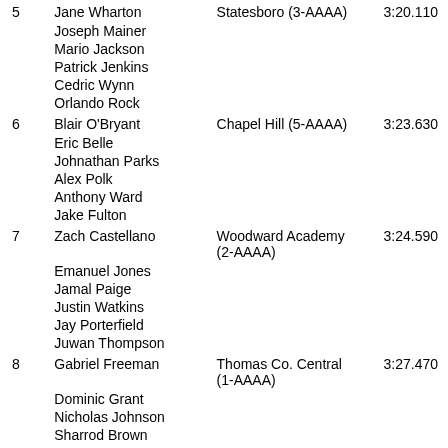| Place | Name | School | Time |
| --- | --- | --- | --- |
| 5 | Jane Wharton | Statesboro (3-AAAA) | 3:20.110 |
|  | Joseph Mainer |  |  |
|  | Mario Jackson |  |  |
|  | Patrick Jenkins |  |  |
|  | Cedric Wynn |  |  |
|  | Orlando Rock |  |  |
| 6 | Blair O'Bryant | Chapel Hill (5-AAAA) | 3:23.630 |
|  | Eric Belle |  |  |
|  | Johnathan Parks |  |  |
|  | Alex Polk |  |  |
|  | Anthony Ward |  |  |
|  | Jake Fulton |  |  |
| 7 | Zach Castellano | Woodward Academy (2-AAAA) | 3:24.590 |
|  | Emanuel Jones |  |  |
|  | Jamal Paige |  |  |
|  | Justin Watkins |  |  |
|  | Jay Porterfield |  |  |
|  | Juwan Thompson |  |  |
| 8 | Gabriel Freeman | Thomas Co. Central (1-AAAA) | 3:27.470 |
|  | Dominic Grant |  |  |
|  | Nicholas Johnson |  |  |
|  | Sharrod Brown |  |  |